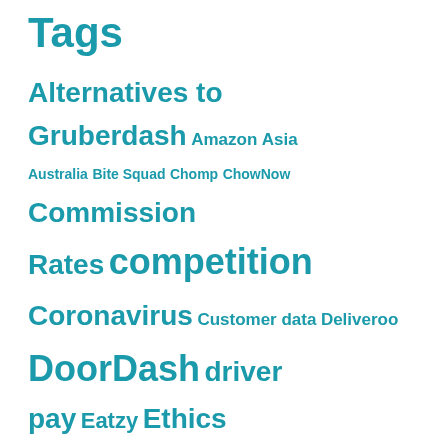Tags
Alternatives to Gruberdash Amazon Asia
Australia Bite Squad Chomp ChowNow
Commission Rates competition
Coronavirus Customer data Deliveroo
DoorDash driver pay Eatzy Ethics
Europe ezCater funding Gig Work GrubHub
IC v Employee integrations Just Eat
Takeaway.com local Lyft Marketing Mergers & Acquisitions
native delivery non-partner
non-restaurant Ole Postmates